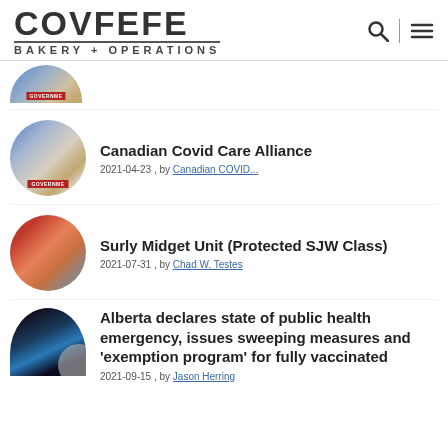[Figure (logo): COVFEFE BAKERY + OPERATIONS logo with search and menu icons]
[Figure (photo): Partially visible circular thumbnail showing government-related imagery]
[Figure (photo): Circular thumbnail showing papers and laptop related to government]
Canadian Covid Care Alliance
2021-04-23 , by Canadian COVID...
[Figure (photo): Circular thumbnail showing a red-haired woman speaking at a microphone]
Surly Midget Unit (Protected SJW Class)
2021-07-31 , by Chad W. Testes
[Figure (photo): Circular thumbnail showing a man speaking at a podium with blue lighting]
Alberta declares state of public health emergency, issues sweeping measures and 'exemption program' for fully vaccinated
2021-09-15 , by Jason Herring